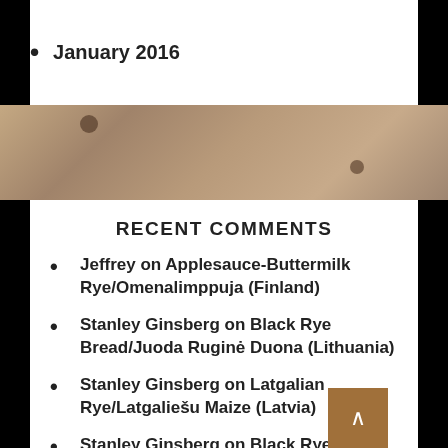January 2016
RECENT COMMENTS
Jeffrey on Applesauce-Buttermilk Rye/Omenalimppuja (Finland)
Stanley Ginsberg on Black Rye Bread/Juoda Ruginė Duona (Lithuania)
Stanley Ginsberg on Latgalian Rye/Latgaliešu Maize (Latvia)
Stanley Ginsberg on Black Rye Bread/Juoda Ruginė Duona (Lithuania)
Stanley Ginsberg on Halme Bakery's Ring Rye/Puicraikäleinö (Finland)